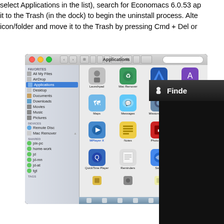select Applications in the list), search for Economacs 6.0.53 app and it to the Trash (in the dock) to begin the uninstall process. Alte icon/folder and move it to the Trash by pressing Cmd + Del or
[Figure (screenshot): macOS Finder window showing Applications folder with app icons including Launchpad, Mac Remover, MacCleaner, App Store, Maps, Messages, Mission Control, MPlayer OSX Extended, MPlayer X, Notes, Photo Booth, Preview, QuickTime Player, Reminders, Safari, SBplayer, and partially visible bottom row icons. Sidebar shows Favorites: All My Files, AirDrop, Applications (selected/highlighted in blue), Desktop, Documents, Downloads, Movies, Music, Pictures; Devices: Remote Disc, Mac Remover; Shared: pix-pc, home-work, jd, jd-mn, jd-at, tgt; Tags section at bottom.]
[Figure (screenshot): Partial macOS menu bar showing Apple logo and Finder text on dark background, positioned at top right of the screenshot area.]